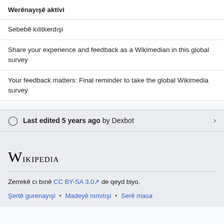Werênayışê aktivi
Sebebê kılitkerdışi
Share your experience and feedback as a Wikimedian in this global survey
Your feedback matters: Final reminder to take the global Wikimedia survey
Last edited 5 years ago by Dexbot
[Figure (logo): Wikipedia logo text in small-caps serif font]
Zerrekê cı bınê CC BY-SA 3.0 de qeyd biyo.
Şertê gurenayışi • Madeyê nımıtışi • Serê masa